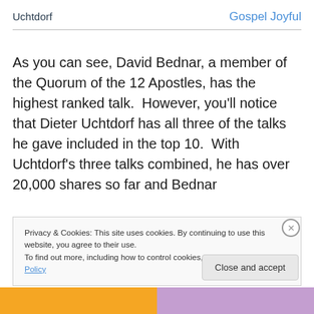Uchtdorf   Gospel Joyful
As you can see, David Bednar, a member of the Quorum of the 12 Apostles, has the highest ranked talk.  However, you'll notice that Dieter Uchtdorf has all three of the talks he gave included in the top 10.  With Uchtdorf's three talks combined, he has over 20,000 shares so far and Bednar
Privacy & Cookies: This site uses cookies. By continuing to use this website, you agree to their use.
To find out more, including how to control cookies, see here: Cookie Policy